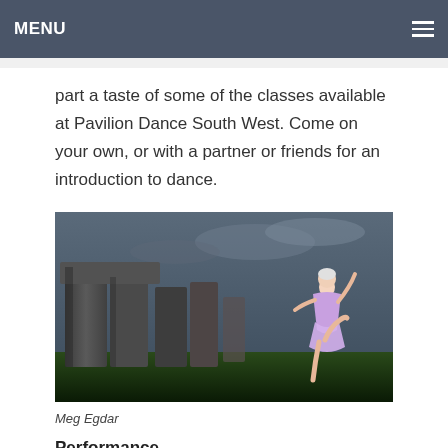MENU
part a taste of some of the classes available at Pavilion Dance South West. Come on your own, or with a partner or friends for an introduction to dance.
[Figure (photo): A dancer in a purple/lavender dress performing a dance pose with one leg raised and arms extended, photographed in front of Stonehenge megalithic monument against a dramatic cloudy sky with green grass.]
Meg Egdar
Performance